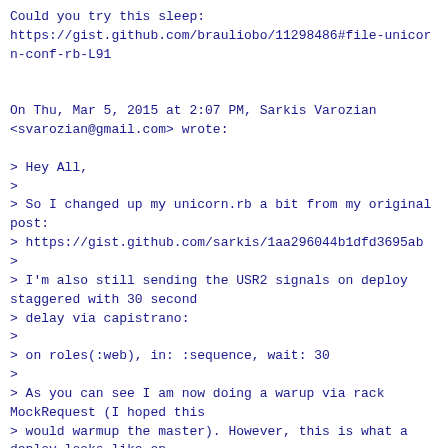Could you try this sleep:
https://gist.github.com/brauliobo/11298486#file-unicorn-conf-rb-L91


On Thu, Mar 5, 2015 at 2:07 PM, Sarkis Varozian
<svarozian@gmail.com> wrote:

> Hey All,
>
> So I changed up my unicorn.rb a bit from my original
post:
> https://gist.github.com/sarkis/1aa296044b1dfd3695ab
>
> I'm also still sending the USR2 signals on deploy
staggered with 30 second
> delay via capistrano:
>
> on roles(:web), in: :sequence, wait: 30
>
> As you can see I am now doing a warup via rack
MockRequest (I hoped this
> would warmup the master). However, this is what a
deploy looks like on
> newrelic:
>
>
>
https://www.dropbox.com/s/beh7nc8npdfijqp/Screenshot%2020
03-05%2009.05.15.png?dl=0